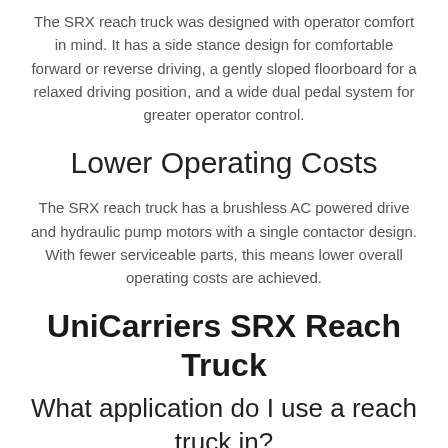The SRX reach truck was designed with operator comfort in mind. It has a side stance design for comfortable forward or reverse driving, a gently sloped floorboard for a relaxed driving position, and a wide dual pedal system for greater operator control.
Lower Operating Costs
The SRX reach truck has a brushless AC powered drive and hydraulic pump motors with a single contactor design. With fewer serviceable parts, this means lower overall operating costs are achieved.
UniCarriers SRX Reach Truck
What application do I use a reach truck in?